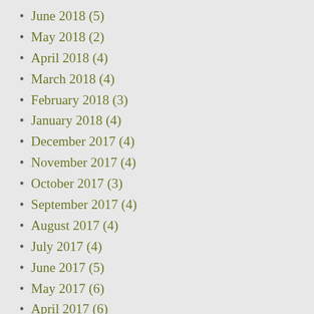June 2018 (5)
May 2018 (2)
April 2018 (4)
March 2018 (4)
February 2018 (3)
January 2018 (4)
December 2017 (4)
November 2017 (4)
October 2017 (3)
September 2017 (4)
August 2017 (4)
July 2017 (4)
June 2017 (5)
May 2017 (6)
April 2017 (6)
March 2017 (10)